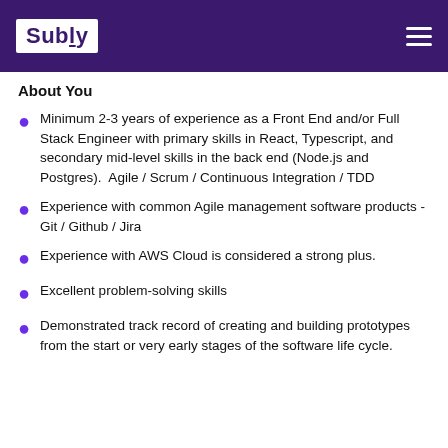Subly
About You
Minimum 2-3 years of experience as a Front End and/or Full Stack Engineer with primary skills in React, Typescript, and secondary mid-level skills in the back end (Node.js and Postgres). Agile / Scrum / Continuous Integration / TDD
Experience with common Agile management software products - Git / Github / Jira
Experience with AWS Cloud is considered a strong plus.
Excellent problem-solving skills
Demonstrated track record of creating and building prototypes from the start or very early stages of the software life cycle.